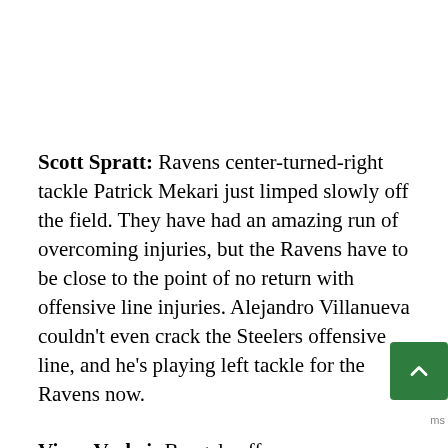Scott Spratt: Ravens center-turned-right tackle Patrick Mekari just limped slowly off the field. They have had an amazing run of overcoming injuries, but the Ravens have to be close to the point of no return with offensive line injuries. Alejandro Villanueva couldn't even crack the Steelers offensive line, and he's playing left tackle for the Ravens now.
Vince Verhei: Bengals offense was dormant early with three punts and a field goal drive that only covered 23 yards. But on their fourth drive C.J. Uzomah got open for a 55-yard touchdown catch on a play-action bomb, and their fifth drive was a two-